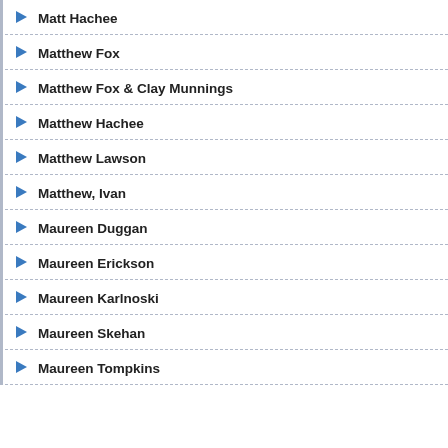Matt Hachee
Matthew Fox
Matthew Fox & Clay Munnings
Matthew Hachee
Matthew Lawson
Matthew, Ivan
Maureen Duggan
Maureen Erickson
Maureen Karlnoski
Maureen Skehan
Maureen Tompkins